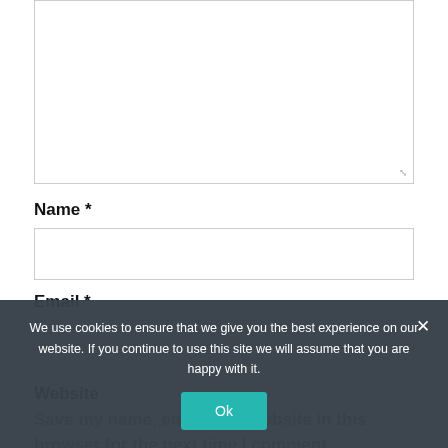[Figure (screenshot): A web form comment textarea with resize handle in the bottom-right corner]
Name *
[Figure (screenshot): Name input field]
Email *
[Figure (screenshot): Email input field]
Website
Save my name, email, and website in this browser for the next time I comment.
We use cookies to ensure that we give you the best experience on our website. If you continue to use this site we will assume that you are happy with it.